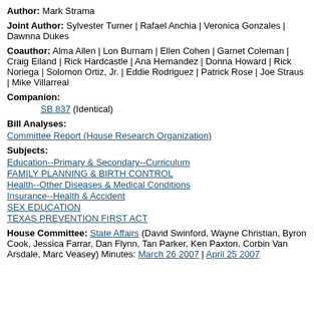Author: Mark Strama
Joint Author: Sylvester Turner | Rafael Anchia | Veronica Gonzales | Dawnna Dukes
Coauthor: Alma Allen | Lon Burnam | Ellen Cohen | Garnet Coleman | Craig Eiland | Rick Hardcastle | Ana Hernandez | Donna Howard | Rick Noriega | Solomon Ortiz, Jr. | Eddie Rodriguez | Patrick Rose | Joe Straus | Mike Villarreal
Companion:
SB 837 (Identical)
Bill Analyses:
Committee Report (House Research Organization)
Subjects:
Education--Primary & Secondary--Curriculum
FAMILY PLANNING & BIRTH CONTROL
Health--Other Diseases & Medical Conditions
Insurance--Health & Accident
SEX EDUCATION
TEXAS PREVENTION FIRST ACT
House Committee: State Affairs (David Swinford, Wayne Christian, Byron Cook, Jessica Farrar, Dan Flynn, Tan Parker, Ken Paxton, Corbin Van Arsdale, Marc Veasey) Minutes: March 26 2007 | April 25 2007